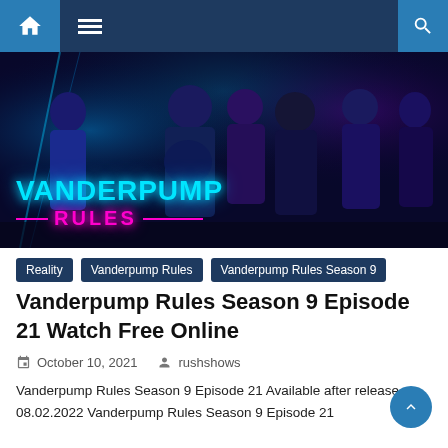Navigation bar with home, menu, and search icons
[Figure (photo): Vanderpump Rules TV show promotional image showing cast members posing against a dark blue/purple neon background, with the show title 'VANDERPUMP RULES' displayed in neon cyan and magenta text at the bottom]
Reality
Vanderpump Rules
Vanderpump Rules Season 9
Vanderpump Rules Season 9 Episode 21 Watch Free Online
October 10, 2021   rushshows
Vanderpump Rules Season 9 Episode 21 Available after release 08.02.2022 Vanderpump Rules Season 9 Episode 21